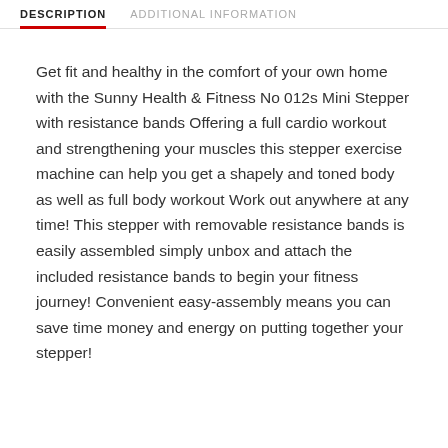DESCRIPTION   ADDITIONAL INFORMATION
Get fit and healthy in the comfort of your own home with the Sunny Health & Fitness No 012s Mini Stepper with resistance bands Offering a full cardio workout and strengthening your muscles this stepper exercise machine can help you get a shapely and toned body as well as full body workout Work out anywhere at any time! This stepper with removable resistance bands is easily assembled simply unbox and attach the included resistance bands to begin your fitness journey! Convenient easy-assembly means you can save time money and energy on putting together your stepper!